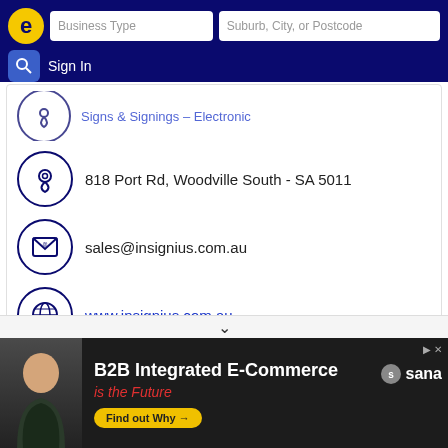Business Type | Suburb, City, or Postcode | Sign In
[Figure (screenshot): Partial listing row with location icon and strikethrough text for Signs & Signings - Electronic]
818 Port Rd, Woodville South - SA 5011
sales@insignius.com.au
www.insignius.com.au
↳ More results nearby or related categories
New Carton Boxes Woodville South SA
Traffic & Safety Signs Woodville South SA
[Figure (photo): B2B Integrated E-Commerce Is the Future advertisement banner with Sana logo and smiling man photo]